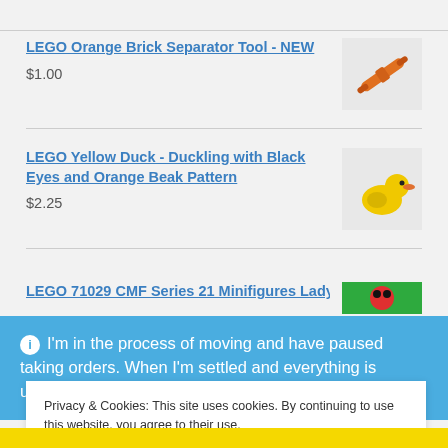LEGO Orange Brick Separator Tool - NEW
$1.00
LEGO Yellow Duck - Duckling with Black Eyes and Orange Beak Pattern
$2.25
LEGO 71029 CMF Series 21 Minifigures Ladybug Girl
ℹ I'm in the process of moving and have paused taking orders. When I'm settled and everything is unpacked, I'll
Privacy & Cookies: This site uses cookies. By continuing to use this website, you agree to their use.
To find out more, including how to control cookies, see here: Cookie Policy
Close and accept